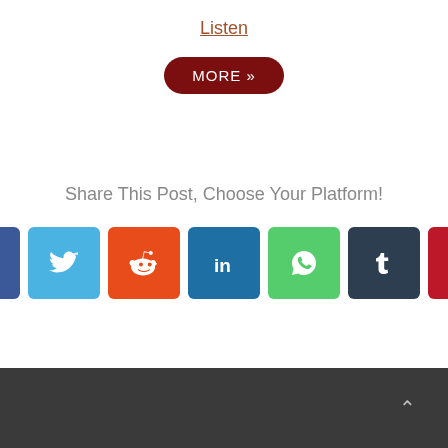Listen
MORE »
Share This Post, Choose Your Platform!
[Figure (infographic): Row of 7 social media share buttons: Facebook (blue), Twitter (light blue), Reddit (orange-red), LinkedIn (dark blue), WhatsApp (green), Tumblr (dark slate), Pinterest (dark red)]
^